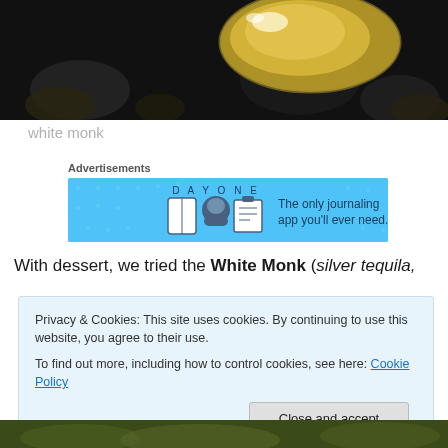[Figure (photo): Close-up dark background photo showing what appears to be a gold/yellow glass or cocktail vessel]
white monk
Advertisements
[Figure (other): Day One journaling app advertisement banner: blue background with app icons and text 'The only journaling app you'll ever need.']
With dessert, we tried the White Monk (silver tequila,
Privacy & Cookies: This site uses cookies. By continuing to use this website, you agree to their use.
To find out more, including how to control cookies, see here: Cookie Policy
[Close and accept]